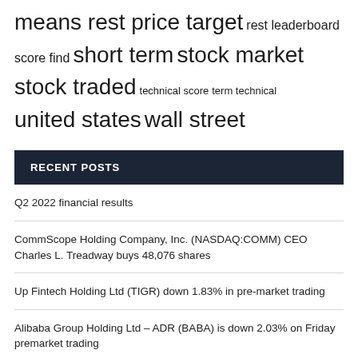means rest price target rest leaderboard score find short term stock market stock traded technical score term technical united states wall street
RECENT POSTS
Q2 2022 financial results
CommScope Holding Company, Inc. (NASDAQ:COMM) CEO Charles L. Treadway buys 48,076 shares
Up Fintech Holding Ltd (TIGR) down 1.83% in pre-market trading
Alibaba Group Holding Ltd – ADR (BABA) is down 2.03% on Friday premarket trading